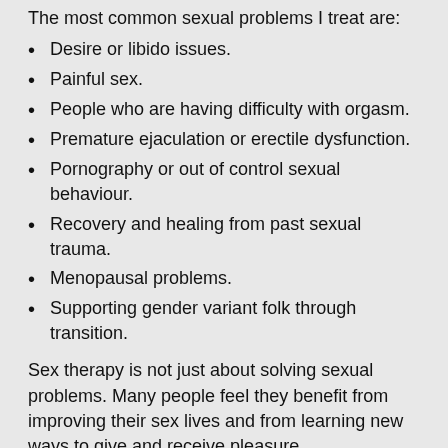The most common sexual problems I treat are:
Desire or libido issues.
Painful sex.
People who are having difficulty with orgasm.
Premature ejaculation or erectile dysfunction.
Pornography or out of control sexual behaviour.
Recovery and healing from past sexual trauma.
Menopausal problems.
Supporting gender variant folk through transition.
Sex therapy is not just about solving sexual problems. Many people feel they benefit from improving their sex lives and from learning new ways to give and receive pleasure.